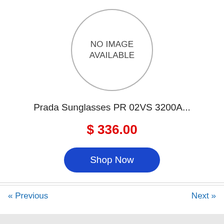[Figure (other): Circle placeholder with text 'NO IMAGE AVAILABLE']
Prada Sunglasses PR 02VS 3200A...
$ 336.00
Shop Now
« Previous   Next »